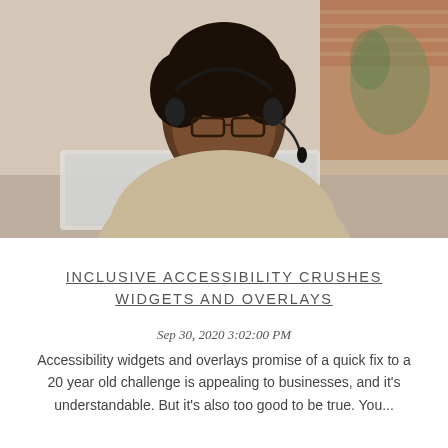[Figure (photo): A young Black woman wearing glasses and a headset, looking down at a laptop computer. Background shows a brick wall and plants, slightly blurred. She is wearing a beige/light grey top.]
INCLUSIVE ACCESSIBILITY CRUSHES WIDGETS AND OVERLAYS
Sep 30, 2020 3:02:00 PM
Accessibility widgets and overlays promise of a quick fix to a 20 year old challenge is appealing to businesses, and it's understandable. But it's also too good to be true. You...